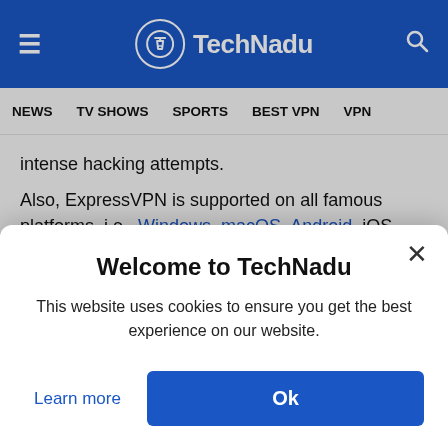TechNadu
NEWS  TV SHOWS  SPORTS  BEST VPN  VPN
intense hacking attempts.

Also, ExpressVPN is supported on all famous platforms, i.e., Windows, macOS, Android, iOS, Linux, Xbox, PlayStation, router, and more; hence you can play PUBG with VPN security on all your
Welcome to TechNadu
This website uses cookies to ensure you get the best experience on our website.
Learn more
Ok